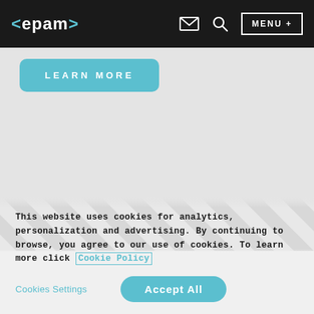<epam> [navigation bar with logo, email icon, search icon, MENU + button]
[Figure (screenshot): LEARN MORE button in teal/cyan color with rounded corners on a light gray background]
[Figure (illustration): Diagonal white and light gray striped pattern band]
This website uses cookies for analytics, personalization and advertising. By continuing to browse, you agree to our use of cookies. To learn more click Cookie Policy
Cookies Settings
Accept All